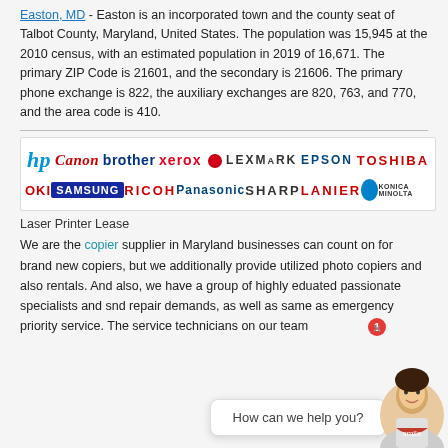Easton, MD - Easton is an incorporated town and the county seat of Talbot County, Maryland, United States. The population was 15,945 at the 2010 census, with an estimated population in 2019 of 16,671. The primary ZIP Code is 21601, and the secondary is 21606. The primary phone exchange is 822, the auxiliary exchanges are 820, 763, and 770, and the area code is 410.
[Figure (logo): Banner showing printer brand logos: HP, Canon, Brother, Xerox, Lexmark, Epson, Toshiba, OKI, Samsung, Ricoh, Panasonic, Sharp, Lanier, Konica Minolta]
Laser Printer Lease
We are the copier supplier in Maryland businesses can count on for brand new copiers, but we additionally provide utilized photo copiers and also rentals. And also, we have a group of highly educated passionate specialists and repair demands, as well as same as emergency priority service. The service technicians on our team
[Figure (other): Chat widget with avatar of a woman and text 'How can we help you?' with notification badge showing 1]